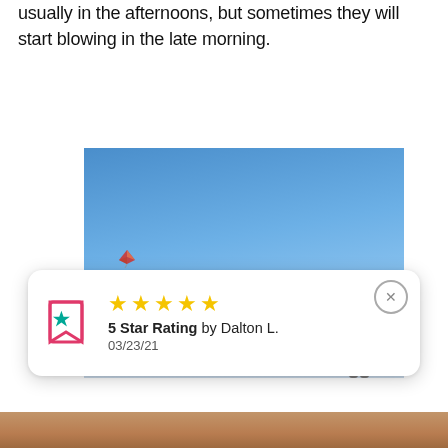usually in the afternoons, but sometimes they will start blowing in the late morning.
[Figure (photo): A person standing on elevated ground filming or photographing a colorful kite flying high in a clear blue sky. The person is wearing a cap and holding a camera up to their face. The kite is small and red/multicolored in the upper left of the frame. Horizon shows a faint skyline.]
5 Star Rating by Dalton L. 03/23/21